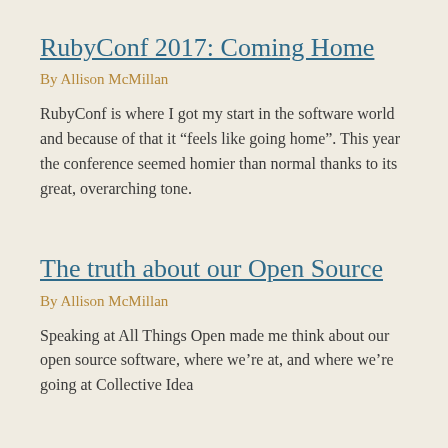RubyConf 2017: Coming Home
By Allison McMillan
RubyConf is where I got my start in the software world and because of that it “feels like going home”. This year the conference seemed homier than normal thanks to its great, overarching tone.
The truth about our Open Source
By Allison McMillan
Speaking at All Things Open made me think about our open source software, where we’re at, and where we’re going at Collective Idea